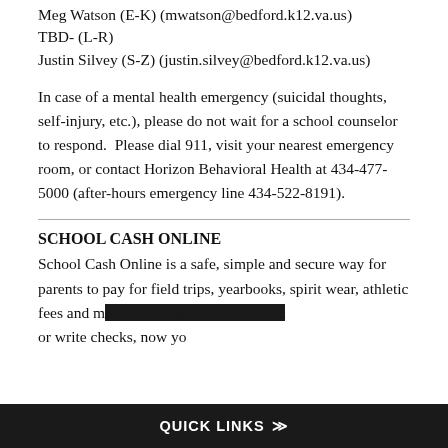Meg Watson (E-K) (mwatson@bedford.k12.va.us)
TBD- (L-R)
Justin Silvey (S-Z) (justin.silvey@bedford.k12.va.us)
In case of a mental health emergency (suicidal thoughts, self-injury, etc.), please do not wait for a school counselor to respond.  Please dial 911, visit your nearest emergency room, or contact Horizon Behavioral Health at 434-477-5000 (after-hours emergency line 434-522-8191).
SCHOOL CASH ONLINE
School Cash Online is a safe, simple and secure way for parents to pay for field trips, yearbooks, spirit wear, athletic fees and more. No need to take out cash or write checks, now yo…
QUICK LINKS